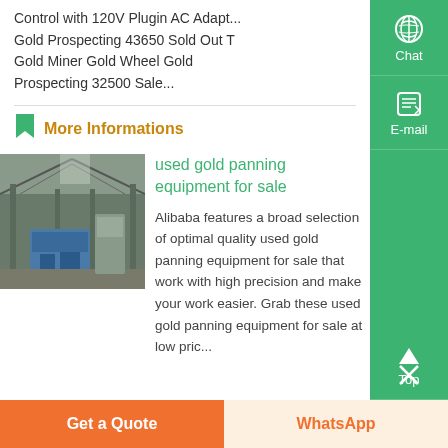Control with 120V Plugin AC Adaptor Gold Prospecting 43650 Sold Out T Gold Miner Gold Wheel Gold Prospecting 32500 Sale...
More Informations
[Figure (photo): Industrial gold panning equipment in a large warehouse/factory setting with machinery and blue equipment visible]
used gold panning equipment for sale
Alibaba features a broad selection of optimal quality used gold panning equipment for sale that work with high precision and make your work easier. Grab these used gold panning equipment for sale at low pric...
Get a Quote
WhatsApp